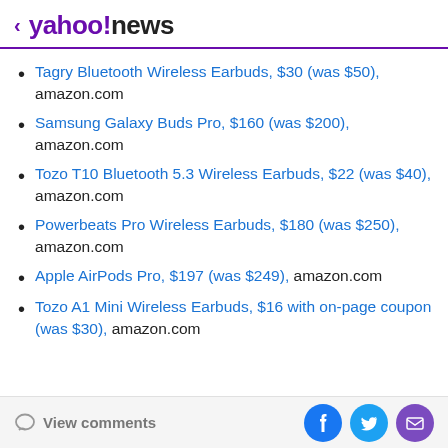< yahoo!news
Tagry Bluetooth Wireless Earbuds, $30 (was $50), amazon.com
Samsung Galaxy Buds Pro, $160 (was $200), amazon.com
Tozo T10 Bluetooth 5.3 Wireless Earbuds, $22 (was $40), amazon.com
Powerbeats Pro Wireless Earbuds, $180 (was $250), amazon.com
Apple AirPods Pro, $197 (was $249), amazon.com
Tozo A1 Mini Wireless Earbuds, $16 with on-page coupon (was $30), amazon.com
View comments | Facebook | Twitter | Mail